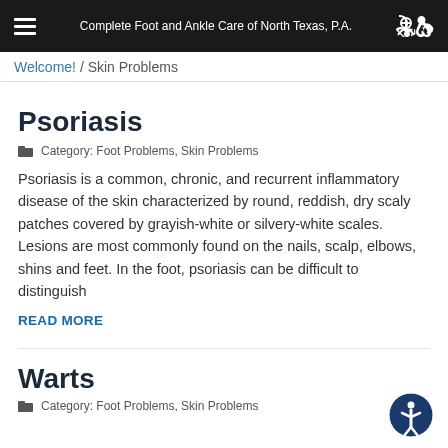Complete Foot and Ankle Care of North Texas, P.A.
Welcome! / Skin Problems
Psoriasis
Category: Foot Problems, Skin Problems
Psoriasis is a common, chronic, and recurrent inflammatory disease of the skin characterized by round, reddish, dry scaly patches covered by grayish-white or silvery-white scales. Lesions are most commonly found on the nails, scalp, elbows, shins and feet. In the foot, psoriasis can be difficult to distinguish
READ MORE
Warts
Category: Foot Problems, Skin Problems